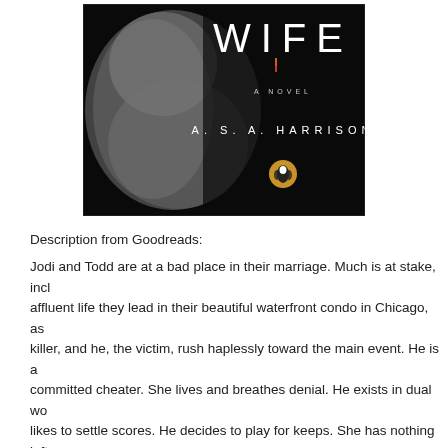[Figure (illustration): Book cover of 'The Silent Wife' by A.S.A. Harrison. Dark background with 'WIFE' in large white letters at top, 'A NOVEL' in small text below, 'A. S. A. HARRISON' in spaced white letters, a Penguin Books logo at bottom, and a blurred grey silhouette on the left half of the cover.]
Description from Goodreads:
Jodi and Todd are at a bad place in their marriage. Much is at stake, incl affluent life they lead in their beautiful waterfront condo in Chicago, as killer, and he, the victim, rush haplessly toward the main event. He is a committed cheater. She lives and breathes denial. He exists in dual wo likes to settle scores. He decides to play for keeps. She has nothing left Told in alternating voices, The Silent Wife is about a marriage in the thr dissolution, a couple headed for catastrophe, concessions that can't be and promises that won't be kept. Expertly plotted and reminiscent of